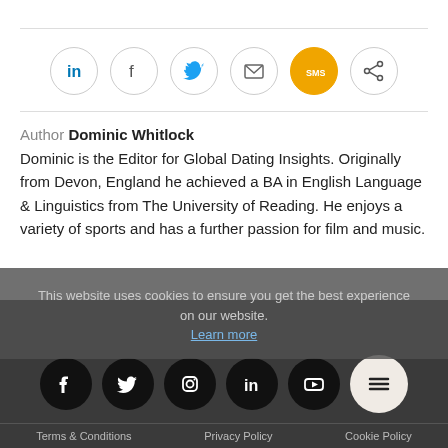[Figure (infographic): Social share buttons row: LinkedIn, Facebook, Twitter, Email, SMS, Share icons in circular outlined buttons]
Author Dominic Whitlock
Dominic is the Editor for Global Dating Insights. Originally from Devon, England he achieved a BA in English Language & Linguistics from The University of Reading. He enjoys a variety of sports and has a further passion for film and music.
[Figure (infographic): Cookie consent overlay with text and Learn more link]
[Figure (infographic): Dark footer with social media icons: Facebook, Twitter, Instagram, LinkedIn, YouTube, and hamburger menu button]
Terms & Conditions   Privacy Policy   Cookie Policy